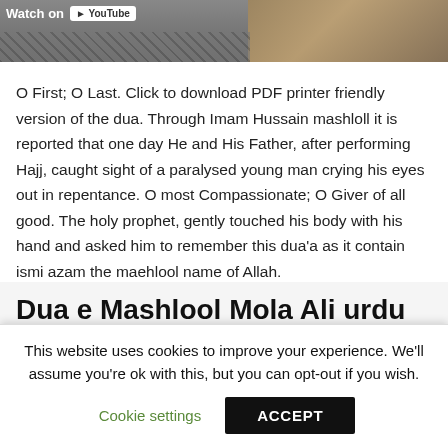[Figure (screenshot): Top of page showing a YouTube video thumbnail with 'Watch on YouTube' label, partially visible image of wires/nature background]
O First; O Last. Click to download PDF printer friendly version of the dua. Through Imam Hussain mashloll it is reported that one day He and His Father, after performing Hajj, caught sight of a paralysed young man crying his eyes out in repentance. O most Compassionate; O Giver of all good. The holy prophet, gently touched his body with his hand and asked him to remember this dua'a as it contain ismi azam the maehlool name of Allah.
Dua e Mashlool Mola Ali urdu on the App Store
This website uses cookies to improve your experience. We'll assume you're ok with this, but you can opt-out if you wish.
Cookie settings   ACCEPT